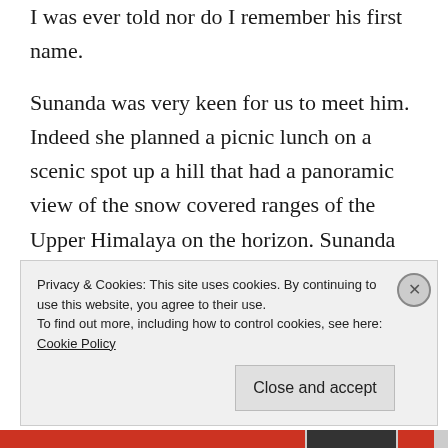I was ever told nor do I remember his first name.
Sunanda was very keen for us to meet him. Indeed she planned a picnic lunch on a scenic spot up a hill that had a panoramic view of the snow covered ranges of the Upper Himalaya on the horizon. Sunanda insisted on getting the food for the picnic as also hot coffee in a thermos. Back in the 60s thermoses were fragile to say the least. The
Privacy & Cookies: This site uses cookies. By continuing to use this website, you agree to their use.
To find out more, including how to control cookies, see here: Cookie Policy